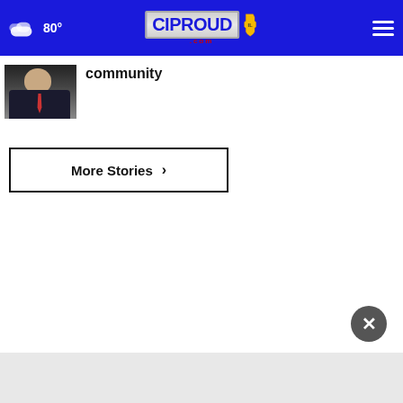CIProud.com — 80°
community
More Stories ›